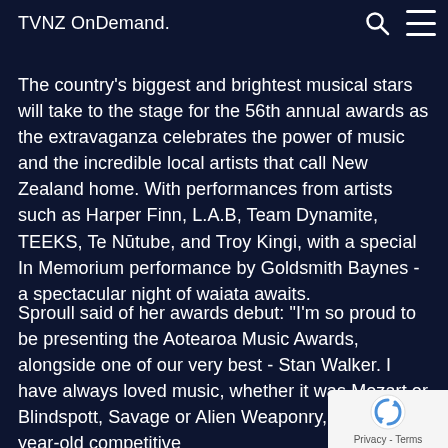TVNZ OnDemand.
The country's biggest and brightest musical stars will take to the stage for the 56th annual awards as the extravaganza celebrates the power of music and the incredible local artists that call New Zealand home. With performances from artists such as Harper Finn, L.A.B, Team Dynamite, TEEKS, Te Nūtube, and Troy Kingi, with a special In Memorium performance by Goldsmith Baynes - a spectacular night of waiata awaits.
Sproull said of her awards debut: "I'm so proud to be presenting the Aotearoa Music Awards, alongside one of our very best - Stan Walker. I have always loved music, whether it was Mozart or Blindspott, Savage or Alien Weaponry, but 10-year-old competitive